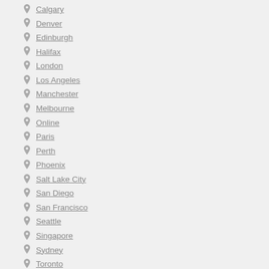Calgary
Denver
Edinburgh
Halifax
London
Los Angeles
Manchester
Melbourne
Online
Paris
Perth
Phoenix
Salt Lake City
San Diego
San Francisco
Seattle
Singapore
Sydney
Toronto
Vancouver
Winnipeg